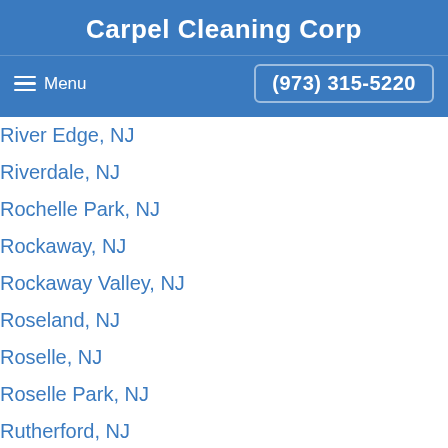Carpel Cleaning Corp
Menu | (973) 315-5220
River Edge, NJ
Riverdale, NJ
Rochelle Park, NJ
Rockaway, NJ
Rockaway Valley, NJ
Roseland, NJ
Roselle, NJ
Roselle Park, NJ
Rutherford, NJ
Saddle Brook, NJ
Saddle River, NJ
Scotch Plains, NJ